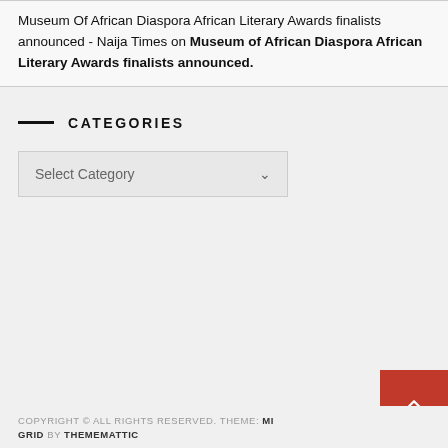Museum Of African Diaspora African Literary Awards finalists announced - Naija Times on Museum of African Diaspora African Literary Awards finalists announced.
CATEGORIES
Select Category
COPYRIGHT © ALL RIGHTS RESERVED. THEME: MI GRID BY THEMEMATTIC